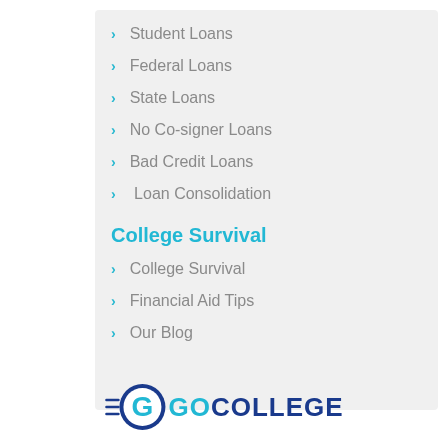Student Loans
Federal Loans
State Loans
No Co-signer Loans
Bad Credit Loans
Loan Consolidation
College Survival
College Survival
Financial Aid Tips
Our Blog
[Figure (logo): GoCollege logo with stylized G in circle and horizontal lines, with GOCOLLEGE text in teal and navy]